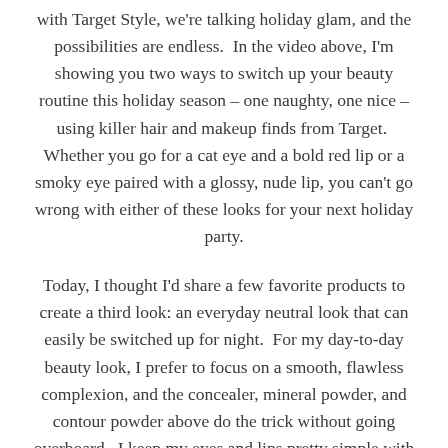with Target Style, we're talking holiday glam, and the possibilities are endless.  In the video above, I'm showing you two ways to switch up your beauty routine this holiday season – one naughty, one nice – using killer hair and makeup finds from Target.  Whether you go for a cat eye and a bold red lip or a smoky eye paired with a glossy, nude lip, you can't go wrong with either of these looks for your next holiday party.
Today, I thought I'd share a few favorite products to create a third look: an everyday neutral look that can easily be switched up for night.  For my day-to-day beauty look, I prefer to focus on a smooth, flawless complexion, and the concealer, mineral powder, and contour powder above do the trick without going overboard.  I keep my eyes and lips pretty simple with a bit of eyeliner (I LOVE this one